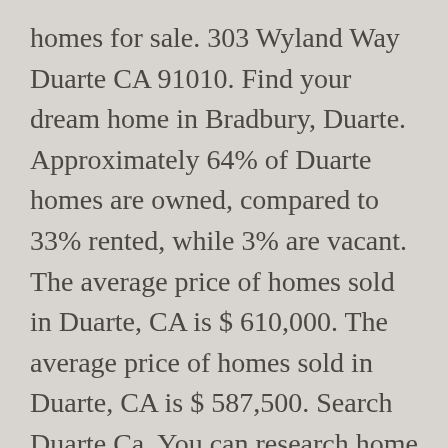homes for sale. 303 Wyland Way Duarte CA 91010. Find your dream home in Bradbury, Duarte. Approximately 64% of Duarte homes are owned, compared to 33% rented, while 3% are vacant. The average price of homes sold in Duarte, CA is $ 610,000. The average price of homes sold in Duarte, CA is $ 587,500. Search Duarte Ca. You can research home values, browse Duarte's hottest homes, and see what Coldwell Banker... Order By. Just Listed. Commercial properties are also available. Home prices here are in-line with the L.A. County average. Set up your unique Duarte real estate search criteria to see results that match what you're looking for. Find real